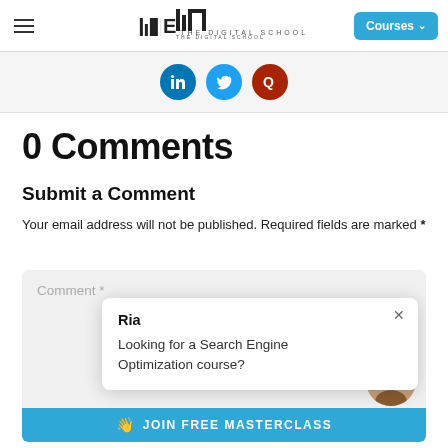IIDE – THE DIGITAL SCHOOL | Courses
[Figure (other): Social media icons: LinkedIn, Twitter, Quora]
0 Comments
Submit a Comment
Your email address will not be published. Required fields are marked *
Comment *
Ria
Looking for a Search Engine Optimization course?
JOIN FREE MASTERCLASS